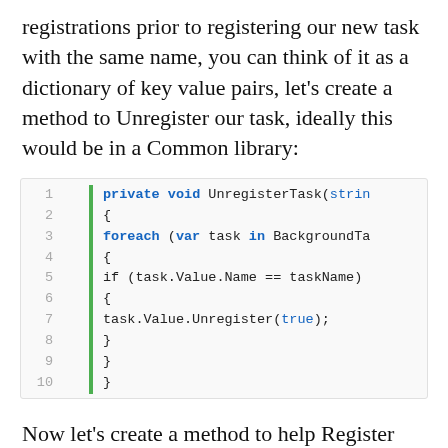registrations prior to registering our new task with the same name, you can think of it as a dictionary of key value pairs, let's create a method to Unregister our task, ideally this would be in a Common library:
[Figure (screenshot): Code block showing UnregisterTask method with 10 lines of C# code, green vertical bar on left, line numbers 1-10]
Now let's create a method to help Register our Task:
[Figure (screenshot): Partial code block showing start of RegisterTask method, line 1 visible]